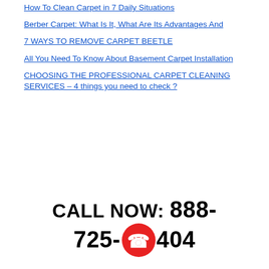How To Clean Carpet in 7 Daily Situations
Berber Carpet: What Is It, What Are Its Advantages And
7 WAYS TO REMOVE CARPET BEETLE
All You Need To Know About Basement Carpet Installation
CHOOSING THE PROFESSIONAL CARPET CLEANING SERVICES – 4 things you need to check ?
CALL NOW: 888-725-404